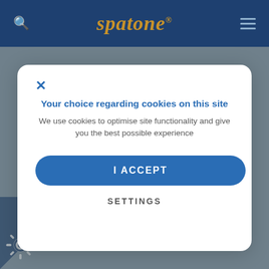spatone
[Figure (screenshot): Cookie consent modal dialog on the Spatone website. Contains a close (X) button, title 'Your choice regarding cookies on this site', body text, an 'I ACCEPT' button, and a 'SETTINGS' link.]
it's also thought to be linked to improvements to the immune system.
ink of time in nature as adding a multivitamin.